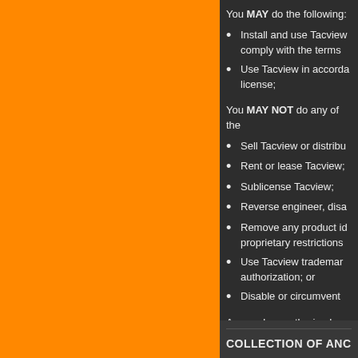You MAY do the following:
Install and use Tacview comply with the terms
Use Tacview in accorda license;
You MAY NOT do any of the
Sell Tacview or distribu
Rent or lease Tacview;
Sublicense Tacview;
Reverse engineer, disa
Remove any product id proprietary restrictions
Use Tacview trademar authorization; or
Disable or circumvent
Any such unauthorized use termination of this license
COLLECTION OF ANC